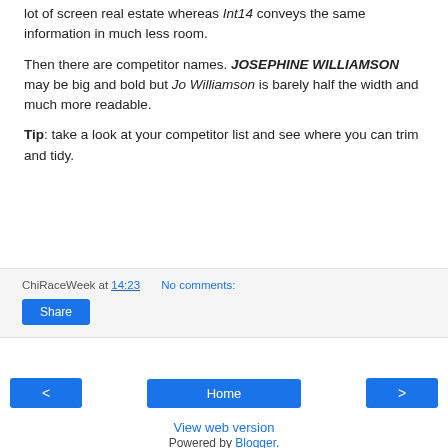lot of screen real estate whereas Int14 conveys the same information in much less room.
Then there are competitor names. JOSEPHINE WILLIAMSON may be big and bold but Jo Williamson is barely half the width and much more readable.
Tip: take a look at your competitor list and see where you can trim and tidy.
ChiRaceWeek at 14:23   No comments:
Share
< Home >
View web version
Powered by Blogger.